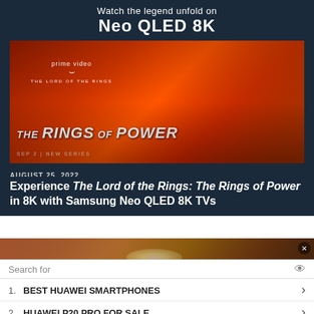Watch the legend unfold on
Neo QLED 8K
[Figure (photo): The Lord of the Rings: The Rings of Power - Prime Video promotional image with a character in red/orange lighting]
AUGUST 25, 2022
Experience The Lord of the Rings: The Rings of Power in 8K with Samsung Neo QLED 8K TVs
[Figure (screenshot): Video player showing a room interior with ceiling light. Overlay text: No compatible source was found for this media.]
Search for
1. BEST HUAWEI SMARTPHONES
2. HUAWEI P20 PRO FOR SALE
Ad | Business Focus